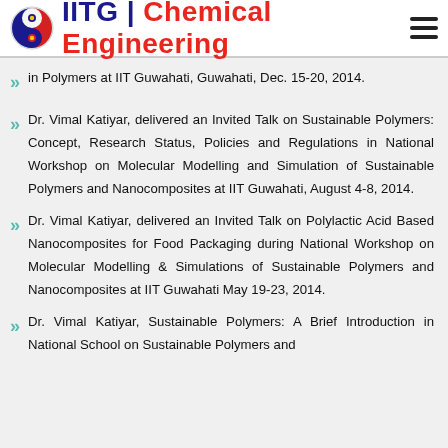IITG | Chemical Engineering
in Polymers at IIT Guwahati, Guwahati, Dec. 15-20, 2014.
Dr. Vimal Katiyar, delivered an Invited Talk on Sustainable Polymers: Concept, Research Status, Policies and Regulations in National Workshop on Molecular Modelling and Simulation of Sustainable Polymers and Nanocomposites at IIT Guwahati, August 4-8, 2014.
Dr. Vimal Katiyar, delivered an Invited Talk on Polylactic Acid Based Nanocomposites for Food Packaging during National Workshop on Molecular Modelling & Simulations of Sustainable Polymers and Nanocomposites at IIT Guwahati May 19-23, 2014.
Dr. Vimal Katiyar, Sustainable Polymers: A Brief Introduction in National School on Sustainable Polymers and